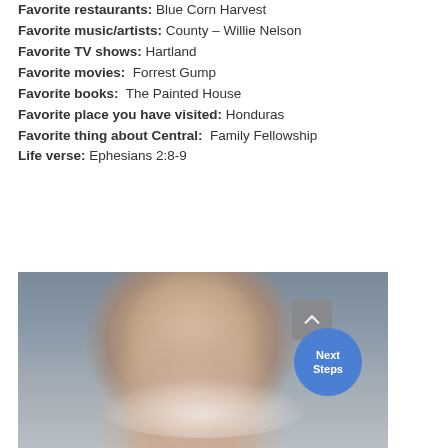Favorite restaurants: Blue Corn Harvest
Favorite music/artists: County – Willie Nelson
Favorite TV shows: Hartland
Favorite movies: Forrest Gump
Favorite books: The Painted House
Favorite place you have visited: Honduras
Favorite thing about Central: Family Fellowship
Life verse: Ephesians 2:8-9
[Figure (photo): Headshot of a middle-aged man with grey-blond hair, smiling broadly, wearing a light blue shirt. Background shows blurred lockers or cabinets. A grey back-to-top button and a blue 'Next Steps' circular button are overlaid on the bottom right of the photo.]